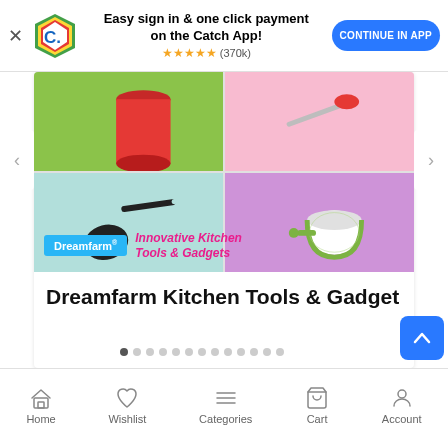[Figure (screenshot): Catch app promotional banner with logo, 'Easy sign in & one click payment on the Catch App!', star rating (370k), and 'CONTINUE IN APP' button]
[Figure (photo): Dreamfarm Kitchen Tools & Gadgets promotional image showing four quadrants: red container on green background, red kitchen tongs on pink, black spatula on mint, and green/white strainer on purple. Dreamfarm branding overlay with 'Innovative Kitchen Tools & Gadgets' text.]
Dreamfarm Kitchen Tools & Gadget
[Figure (infographic): Carousel pagination dots, 13 total with first dot active (dark)]
Home  Wishlist  Categories  Cart  Account